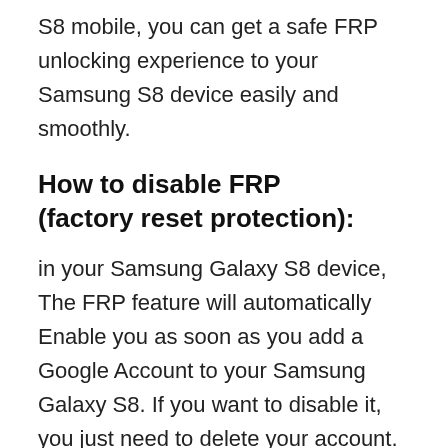S8 mobile, you can get a safe FRP unlocking experience to your Samsung S8 device easily and smoothly.
How to disable FRP (factory reset protection):
in your Samsung Galaxy S8 device, The FRP feature will automatically Enable you as soon as you add a Google Account to your Samsung Galaxy S8. If you want to disable it, you just need to delete your account.
How to Samsung S8 FRP Bypass